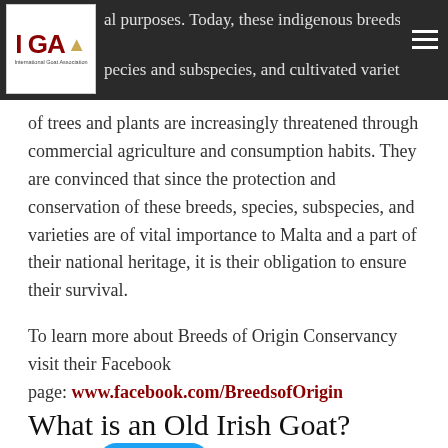al purposes. Today, these indigenous breeds, species and subspecies, and cultivated varieties
of trees and plants are increasingly threatened through commercial agriculture and consumption habits. They are convinced that since the protection and conservation of these breeds, species, subspecies, and varieties are of vital importance to Malta and a part of their national heritage, it is their obligation to ensure their survival.
To learn more about Breeds of Origin Conservancy visit their Facebook page: www.facebook.com/BreedsofOrigin
Tweet
0 Comments
What is an Old Irish Goat?